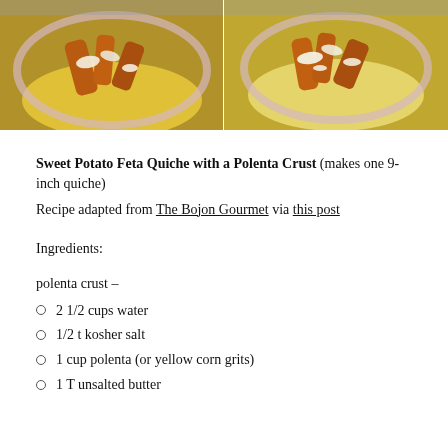[Figure (photo): Two side-by-side food photos showing a quiche in a bowl with sweet potato, feta, and polenta crust]
Sweet Potato Feta Quiche with a Polenta Crust (makes one 9-inch quiche)
Recipe adapted from The Bojon Gourmet via this post
Ingredients:
polenta crust –
2 1/2 cups water
1/2 t kosher salt
1 cup polenta (or yellow corn grits)
1 T unsalted butter